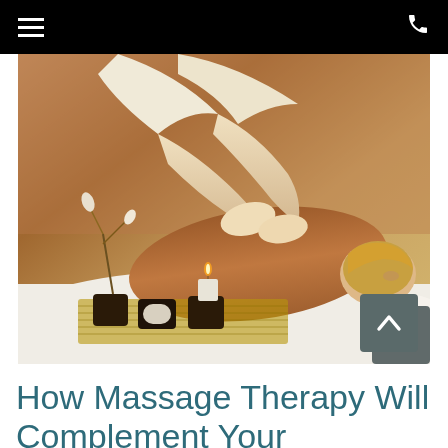navigation menu and phone icon
[Figure (photo): A woman lying face-down on a massage table receiving a back massage from a therapist. Decorative flowers, candles, and spa accessories are visible in the foreground. Warm, relaxing spa atmosphere.]
How Massage Therapy Will Complement Your Chiropractic